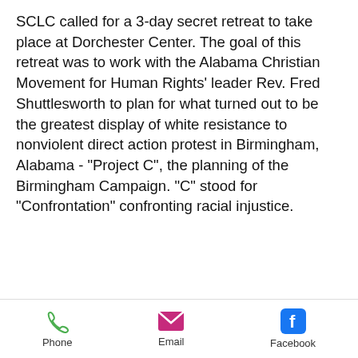SCLC called for a 3-day secret retreat to take place at Dorchester Center. The goal of this retreat was to work with the Alabama Christian Movement for Human Rights' leader Rev. Fred Shuttlesworth to plan for what turned out to be the greatest display of white resistance to nonviolent direct action protest in Birmingham, Alabama - "Project C", the planning of the Birmingham Campaign. "C" stood for "Confrontation" confronting racial injustice.
[Figure (photo): Black and white historical photograph showing a group of people, appears to be from the Civil Rights era, with a scroll-up button overlay in the top right corner.]
Phone   Email   Facebook